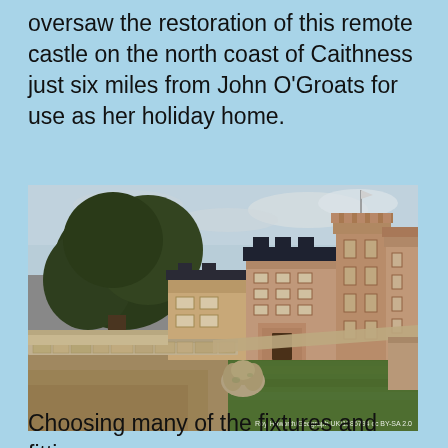oversaw the restoration of this remote castle on the north coast of Caithness just six miles from John O'Groats for use as her holiday home.
[Figure (photo): Photograph of a Scottish castle (Castle of Mey) in Caithness, showing a large stone castle building with towers, a flagpole on top, green lawns, a low stone wall boundary, and a large tree to the left. Grey cloudy sky in the background. Photo credit: Roy Haworth/Geograph.UK/1386794 cc BY-SA 2.0]
Choosing many of the fixtures and fittings